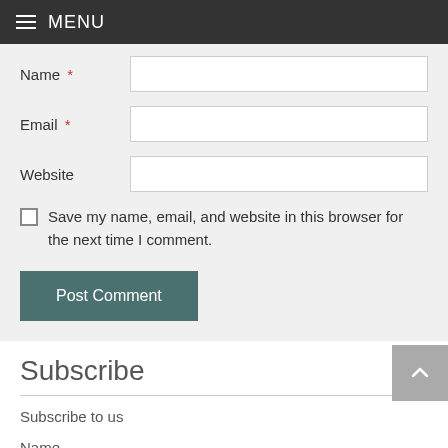MENU
Name *
Email *
Website
Save my name, email, and website in this browser for the next time I comment.
Post Comment
Subscribe
Subscribe to us
Name